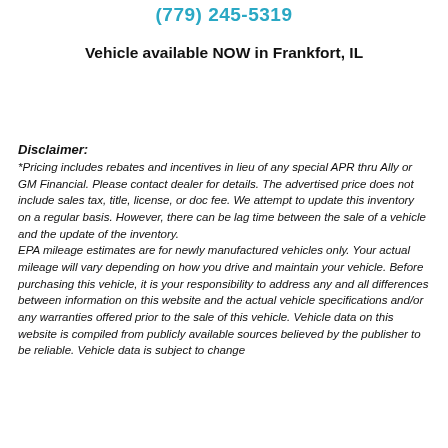(779) 245-5319
Vehicle available NOW in Frankfort, IL
Disclaimer:
*Pricing includes rebates and incentives in lieu of any special APR thru Ally or GM Financial. Please contact dealer for details. The advertised price does not include sales tax, title, license, or doc fee. We attempt to update this inventory on a regular basis. However, there can be lag time between the sale of a vehicle and the update of the inventory. EPA mileage estimates are for newly manufactured vehicles only. Your actual mileage will vary depending on how you drive and maintain your vehicle. Before purchasing this vehicle, it is your responsibility to address any and all differences between information on this website and the actual vehicle specifications and/or any warranties offered prior to the sale of this vehicle. Vehicle data on this website is compiled from publicly available sources believed by the publisher to be reliable. Vehicle data is subject to change